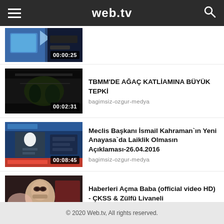web.tv
[Figure (screenshot): Video thumbnail with duration 00:00:25, showing news graphic with map]
TBMM'DE AĞAÇ KATLİAMINA BÜYÜK TEPKİ
bagimsiz-ozgur-medya
[Figure (screenshot): Video thumbnail with duration 00:02:31, dark outdoor scene]
Meclis Başkanı İsmail Kahraman`ın Yeni Anayasa`da Laiklik Olmasın Açıklaması-26.04.2016
bagimsiz-ozgur-medya
[Figure (screenshot): Video thumbnail with duration 00:08:45, news anchor on TV]
Haberleri Açma Baba (official video HD) - ÇKSS & Zülfü Livaneli
bagimsiz-ozgur-medya
[Figure (screenshot): Video thumbnail with duration 00:03:55, child's face]
© 2020 Web.tv, All rights reserved.